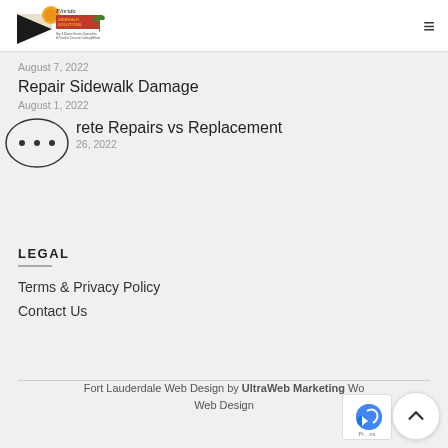Florida Sidewalk Solutions [logo] [hamburger menu]
August 7, 2022
Repair Sidewalk Damage
August 1, 2022
Concrete Repairs vs Replacement
July 26, 2022
LEGAL
Terms & Privacy Policy
Contact Us
Fort Lauderdale Web Design by UltraWeb Marketing Wo… Web Design